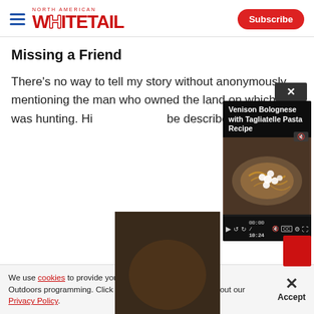North American Whitetail — Subscribe
Missing a Friend
There's no way to tell my story without anonymously mentioning the man who owned the land on which I was hunting. Hi... be described as...
[Figure (screenshot): Video popup overlay showing 'Venison Bolognese with Tagliatelle Pasta Recipe' with a plate of pasta, video controls showing 00:00 / 10:24, mute button, CC, settings, fullscreen icons. Close X button in top right corner.]
[Figure (photo): Partial photo strip visible on left side of page, partially obscured by video overlay.]
We use cookies to provide you with the best experience in Outdoors programming. Click accept to continue or read about our Privacy Policy.